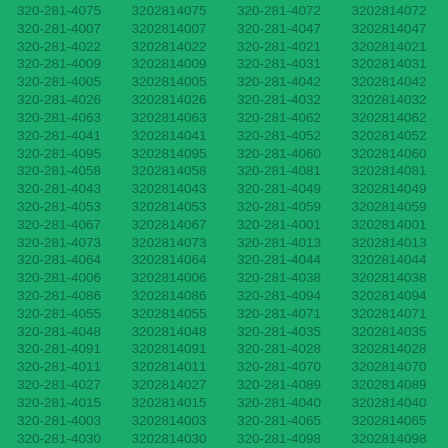320-281-4075 3202814075 320-281-4072 3202814072 320-281-4007 3202814007 320-281-4047 3202814047 320-281-4022 3202814022 320-281-4021 3202814021 320-281-4009 3202814009 320-281-4031 3202814031 320-281-4005 3202814005 320-281-4042 3202814042 320-281-4026 3202814026 320-281-4032 3202814032 320-281-4063 3202814063 320-281-4062 3202814062 320-281-4041 3202814041 320-281-4052 3202814052 320-281-4095 3202814095 320-281-4060 3202814060 320-281-4058 3202814058 320-281-4081 3202814081 320-281-4043 3202814043 320-281-4049 3202814049 320-281-4053 3202814053 320-281-4059 3202814059 320-281-4067 3202814067 320-281-4001 3202814001 320-281-4073 3202814073 320-281-4013 3202814013 320-281-4064 3202814064 320-281-4044 3202814044 320-281-4006 3202814006 320-281-4038 3202814038 320-281-4086 3202814086 320-281-4094 3202814094 320-281-4055 3202814055 320-281-4071 3202814071 320-281-4048 3202814048 320-281-4035 3202814035 320-281-4091 3202814091 320-281-4028 3202814028 320-281-4011 3202814011 320-281-4070 3202814070 320-281-4027 3202814027 320-281-4089 3202814089 320-281-4015 3202814015 320-281-4040 3202814040 320-281-4003 3202814003 320-281-4065 3202814065 320-281-4030 3202814030 320-281-4098 3202814098 320-281-4088 3202814088 320-281-4074 3202814074